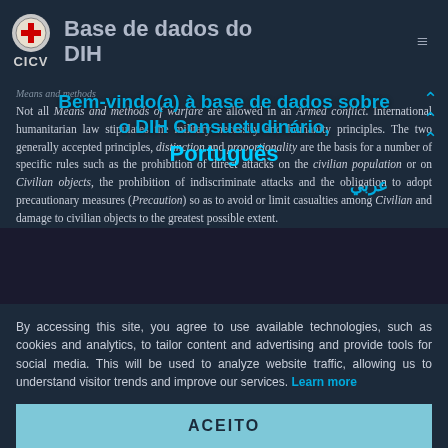Base de dados do DIH — CICV
Not all Means and methods of warfare are allowed in an Armed conflict. International humanitarian law stipulates the military necessity and humanity principles. The two generally accepted principles, distinction and proportionality are the basis for a number of specific rules such as the prohibition of direct attacks on the civilian population or on Civilian objects, the prohibition of indiscriminate attacks and the obligation to adopt precautionary measures (Precaution) so as to avoid or limit casualties among Civilian and damage to civilian objects to the greatest possible extent.
Bem-vindo(a) à base de dados sobre o DIH Consuetudinário,
Português
عربي
By accessing this site, you agree to use available technologies, such as cookies and analytics, to tailor content and advertising and provide tools for social media. This will be used to analyze website traffic, allowing us to understand visitor trends and improve our services. Learn more
ACEITO